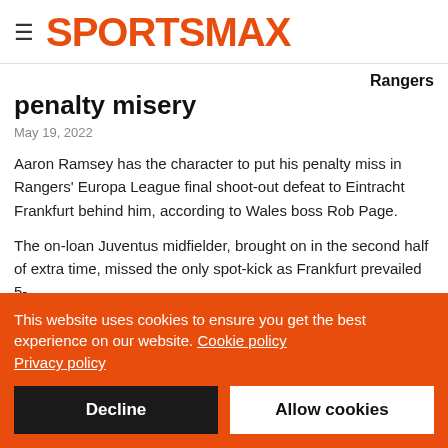SPORTSMAX
Rangers penalty misery
May 19, 2022
Aaron Ramsey has the character to put his penalty miss in Rangers' Europa League final shoot-out defeat to Eintracht Frankfurt behind him, according to Wales boss Rob Page.
The on-loan Juventus midfielder, brought on in the second half of extra time, missed the only spot-kick as Frankfurt prevailed 5-
This website uses cookies to ensure you get the best experience on our website. Cookie policy Privacy policy
Decline
Allow cookies